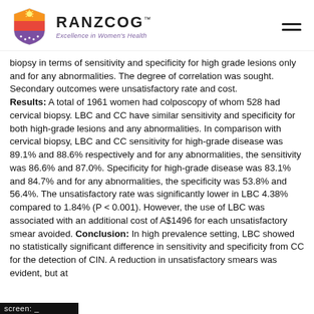RANZCOG™ — Excellence in Women's Health
biopsy in terms of sensitivity and specificity for high grade lesions only and for any abnormalities. The degree of correlation was sought. Secondary outcomes were unsatisfactory rate and cost. Results:   A total of 1961 women had colposcopy of whom 528 had cervical biopsy. LBC and CC have similar sensitivity and specificity for both high-grade lesions and any abnormalities. In comparison with cervical biopsy, LBC and CC sensitivity for high-grade disease was 89.1% and 88.6% respectively and for any abnormalities, the sensitivity was 86.6% and 87.0%. Specificity for high-grade disease was 83.1% and 84.7% and for any abnormalities, the specificity was 53.8% and 56.4%. The unsatisfactory rate was significantly lower in LBC 4.38% compared to 1.84% (P  <   0.001). However, the use of LBC was associated with an additional cost of A$1496 for each unsatisfactory smear avoided. Conclusion:   In high prevalence setting, LBC showed no statistically significant difference in sensitivity and specificity from CC for the detection of CIN. A reduction in unsatisfactory smears was evident, but at
screen: _